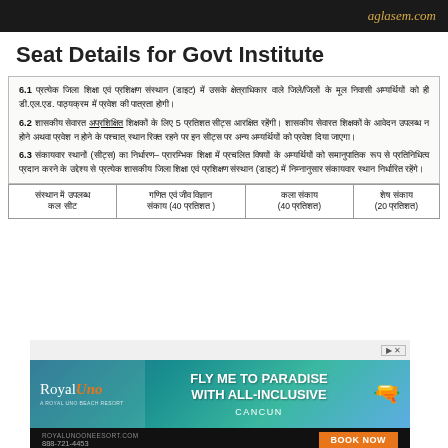aglasem.com
Seat Details for Govt Institute
6.1 प्रत्येक जिला शिक्षा एवं प्रशिक्षण संस्थान (डाइट) में उसके क्षेत्राधिकार वाले जिले/जिलों के मूल निवासी अम्यर्थियों को ही डी.एल.एड. पाठ्यक्रम में प्रवेश की पात्रता होगी।
6.2 शासकीय सेवारत अप्रशिक्षित शिक्षकों के लिए 5 प्रतिशत सीट्स आरक्षित रहेंगी। शासकीय सेवारत शिक्षकों के आवेदन उपलब्ध न होने अथवा प्रवेश न होने के पश्चात् स्थान रिक्त रहने पर इन सीट्स पर अन्य अम्यर्थियों को प्रवेश दिया जाएगा।
6.3 संकायवार स्थानों (सीट्स) का निर्धारण– प्रारम्भिक शिक्षा में प्रचलित विषयों के अम्यर्थियों को समानुपातिक रूप से प्रतिनिधित्व प्रदान करने के उद्देश्य से प्रत्येक शासकीय जिला शिक्षा एवं प्रशिक्षण संस्थान (डाइट) में निम्नानुसार संकायवार स्थान निर्धारित रहेंगे।
| संस्थान में उपलब्ध कल सीट | गणित एवं जीव विज्ञान संकाय (40 प्रतिशत ) | कला संकाय (40 प्रतिशत) | शेष संकाय (20 प्रतिशत) |
| --- | --- | --- | --- |
[Figure (other): Advertisement banner for Royal Uno resort - FLY ME TO PARADISE WITH ALL-INCLUSIVE CANCUN with Book Now button]